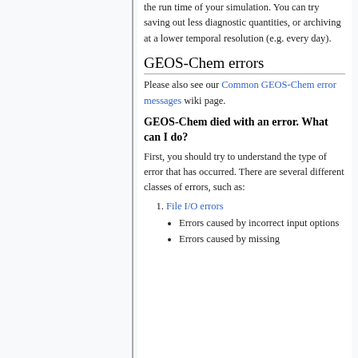the run time of your simulation. You can try saving out less diagnostic quantities, or archiving at a lower temporal resolution (e.g. every day).
GEOS-Chem errors
Please also see our Common GEOS-Chem error messages wiki page.
GEOS-Chem died with an error. What can I do?
First, you should try to understand the type of error that has occurred. There are several different classes of errors, such as:
File I/O errors
Errors caused by incorrect input options
Errors caused by missing